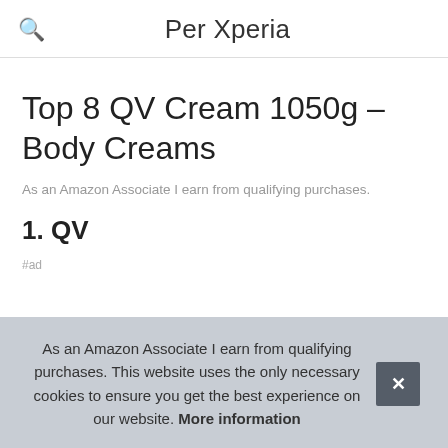Per Xperia
Top 8 QV Cream 1050g – Body Creams
As an Amazon Associate I earn from qualifying purchases.
1. QV
#ad
As an Amazon Associate I earn from qualifying purchases. This website uses the only necessary cookies to ensure you get the best experience on our website. More information